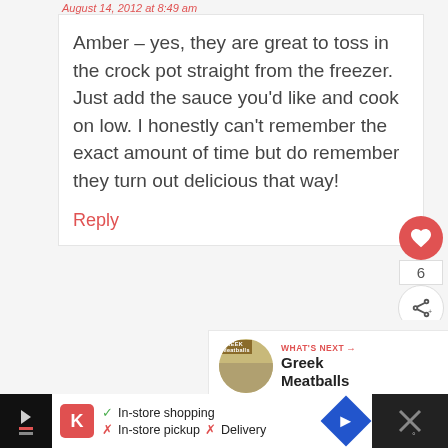August 14, 2012 at 8:49 am
Amber – yes, they are great to toss in the crock pot straight from the freezer. Just add the sauce you'd like and cook on low. I honestly can't remember the exact amount of time but do remember they turn out delicious that way!
Reply
[Figure (infographic): What's Next widget showing Greek Meatballs article suggestion with thumbnail image]
[Figure (infographic): Advertisement banner: In-store shopping checkmark, In-store pickup X, Delivery X with navigation icon]